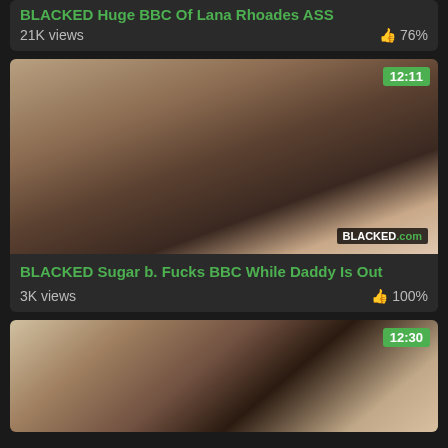BLACKED Huge BBC Of Lana Rhoades ASS
21K views  👍 76%
[Figure (screenshot): Video thumbnail showing two people on a bed, with BLACKED.com watermark and duration badge 12:11]
BLACKED Sugar b. Fucks BBC While Daddy Is Out
3K views  👍 100%
[Figure (screenshot): Video thumbnail showing three people in a bright room, with duration badge 12:30]